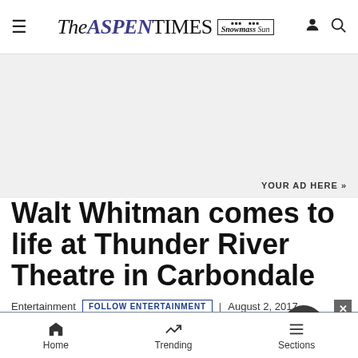THE ASPEN TIMES | Snowmass Sun
[Figure (infographic): Gray advertisement placeholder area with text 'YOUR AD HERE »']
YOUR AD HERE »
Walt Whitman comes to life at Thunder River Theatre in Carbondale
Entertainment | FOLLOW ENTERTAINMENT | August 2, 2017
[Figure (screenshot): Social sharing icons bar: Twitter, Facebook, Mail, Print. Notification bell button. Close X button. Partial article image strip at bottom.]
Home | Trending | Sections